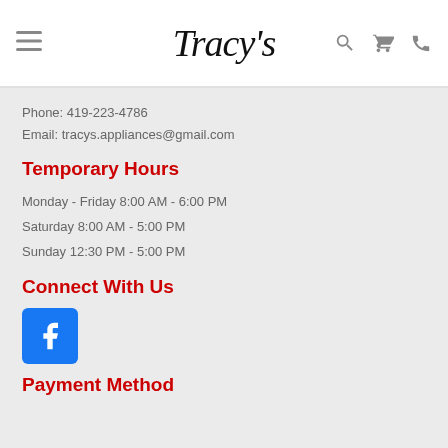Tracy's
Phone: 419-223-4786
Email: tracys.appliances@gmail.com
Temporary Hours
Monday - Friday 8:00 AM - 6:00 PM
Saturday 8:00 AM - 5:00 PM
Sunday 12:30 PM - 5:00 PM
Connect With Us
[Figure (logo): Facebook logo icon - blue square with white 'f']
Payment Method